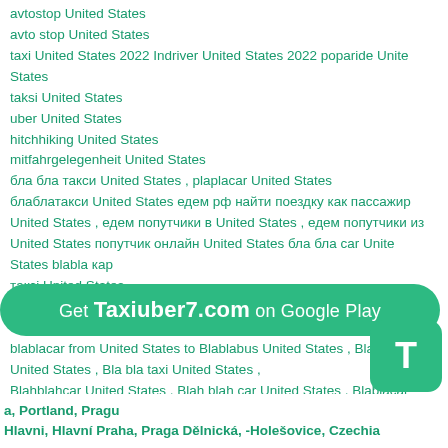avtostop United States
avto stop United States
taxi United States 2022 Indriver United States 2022 poparide United States
taksi United States
uber United States
hitchhiking United States
mitfahrgelegenheit United States
бла бла такси United States , plaplacar United States
блаблатакси United States едем рф найти поездку как пассажир United States , едем попутчики в United States , едем попутчики из United States попутчик онлайн United States бла бла car United States blabla кар
такci United States
такси убер United States , edem.rf United States , едем.рф United States Попутчики United States Попутчики из United States blablacar from United States to Blablabus United States , Blablatax United States , Bla bla taxi United States ,
Blahblahcar United States , Blah blah car United States , Blablacar bus United States , Blablacar United States or bla bla car United States
taxi United carpooling United taxi States carpooling States
[Figure (other): Green rounded banner: 'Get Taxiuber7.com on Google Play' with a green T button icon]
a, Portland, Pragu Hlavni, Hlavní Praha, Praga Dělnická, -Holešovice, Czechia